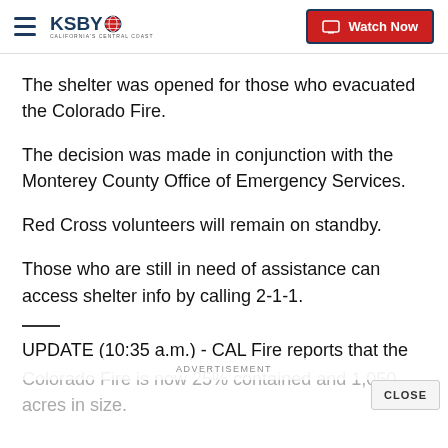KSBY — California's Central Coast | Watch Now
The shelter was opened for those who evacuated the Colorado Fire.
The decision was made in conjunction with the Monterey County Office of Emergency Services.
Red Cross volunteers will remain on standby.
Those who are still in need of assistance can access shelter info by calling 2-1-1.
UPDATE (10:35 a.m.) - CAL Fire reports that the Colorado Fire is now 25% contained and 1,050 acres in size.